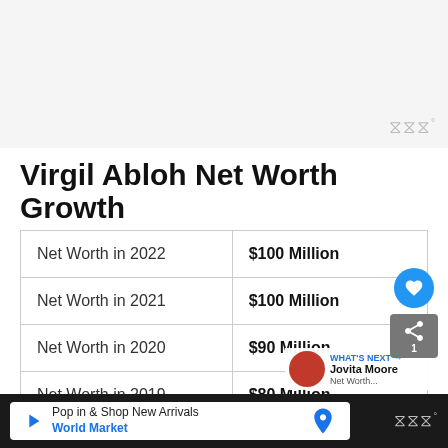[Figure (other): Top banner image area, light gray, with watermark symbol in bottom right]
Virgil Abloh Net Worth Growth
| Net Worth in 2022 | $100 Million |
| Net Worth in 2021 | $100 Million |
| Net Worth in 2020 | $90 Million |
| Net Worth in 2019 | $80 Million |
Pop in & Shop New Arrivals World Market